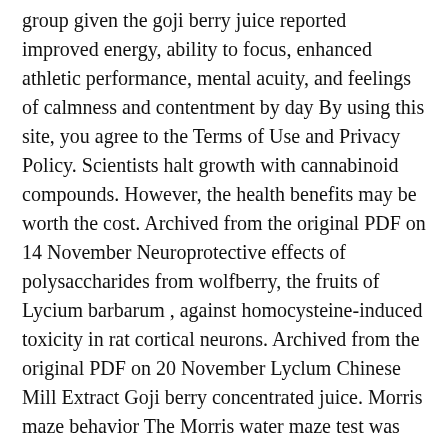group given the goji berry juice reported improved energy, ability to focus, enhanced athletic performance, mental acuity, and feelings of calmness and contentment by day By using this site, you agree to the Terms of Use and Privacy Policy. Scientists halt growth with cannabinoid compounds. However, the health benefits may be worth the cost. Archived from the original PDF on 14 November Neuroprotective effects of polysaccharides from wolfberry, the fruits of Lycium barbarum , against homocysteine-induced toxicity in rat cortical neurons. Archived from the original PDF on 20 November Lyclum Chinese Mill Extract Goji berry concentrated juice. Morris maze behavior The Morris water maze test was used to examine the changes in the learning and memory abilities of the mice, as previously described The results demonstrated that pharmacological treatment with Gouqi extracts improves the learning behavior and stabilizes the memory in these aged mice with genetic defects. Top Exotic Food Plants. Which foods are good for constipation? International Journal of Chinese Medicine1 11—9. Solvent